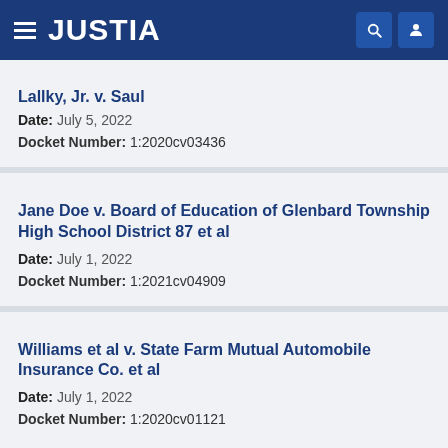JUSTIA
Lallky, Jr. v. Saul
Date: July 5, 2022
Docket Number: 1:2020cv03436
Jane Doe v. Board of Education of Glenbard Township High School District 87 et al
Date: July 1, 2022
Docket Number: 1:2021cv04909
Williams et al v. State Farm Mutual Automobile Insurance Co. et al
Date: July 1, 2022
Docket Number: 1:2020cv01121